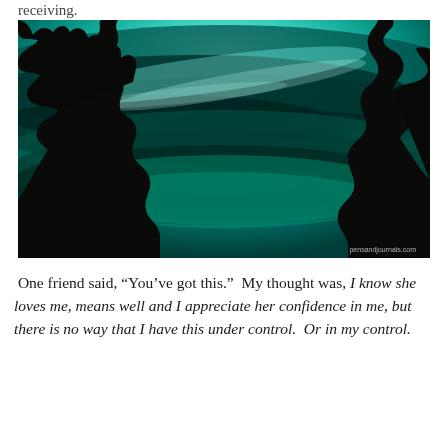receiving.
[Figure (photo): Dramatic teal/cyan stormy sky with swirling dark clouds and black silhouettes of trees on the left and right sides. Watermark reads 'pensandjournals.com' in lower right corner.]
One friend said, “You’ve got this.”  My thought was, I know she loves me, means well and I appreciate her confidence in me, but there is no way that I have this under control.  Or in my control.